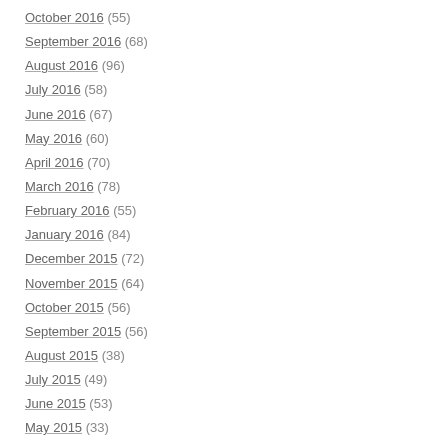October 2016 (55)
September 2016 (68)
August 2016 (96)
July 2016 (58)
June 2016 (67)
May 2016 (60)
April 2016 (70)
March 2016 (78)
February 2016 (55)
January 2016 (84)
December 2015 (72)
November 2015 (64)
October 2015 (56)
September 2015 (56)
August 2015 (38)
July 2015 (49)
June 2015 (53)
May 2015 (33)
April 2015 (43)